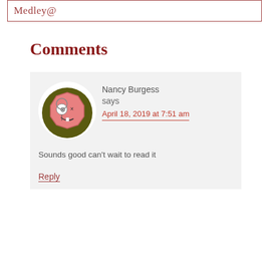Medley@
Comments
Nancy Burgess says April 18, 2019 at 7:51 am
[Figure (illustration): Cartoon avatar: a pink stop-sign shaped character with a monocle and goofy expression on a dark olive green circle background]
Sounds good can't wait to read it
Reply